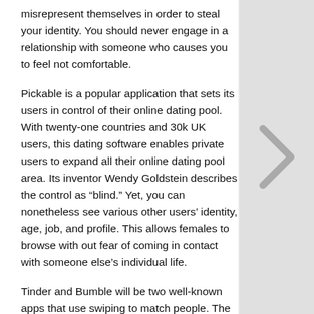misrepresent themselves in order to steal your identity. You should never engage in a relationship with someone who causes you to feel not comfortable.
Pickable is a popular application that sets its users in control of their online dating pool. With twenty-one countries and 30k UK users, this dating software enables private users to expand all their online dating pool area. Its inventor Wendy Goldstein describes the control as “blind.” Yet, you can nonetheless see various other users’ identity, age, job, and profile. This allows females to browse with out fear of coming in contact with someone else’s individual life.
Tinder and Bumble will be two well-known apps that use swiping to match people. The apps pull a person’s brand, age, and interests from Facebook and connect them with common friends. Also you can use these types of apps anonymously until you